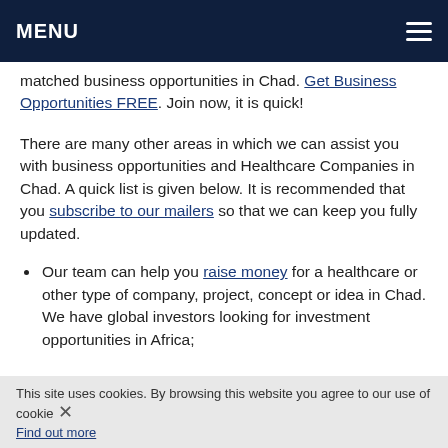MENU
matched business opportunities in Chad. Get Business Opportunities FREE. Join now, it is quick!
There are many other areas in which we can assist you with business opportunities and Healthcare Companies in Chad. A quick list is given below. It is recommended that you subscribe to our mailers so that we can keep you fully updated.
Our team can help you raise money for a healthcare or other type of company, project, concept or idea in Chad. We have global investors looking for investment opportunities in Africa;
We can help you Invest in Chad;
Search Our Database for a list of business
This site uses cookies. By browsing this website you agree to our use of cookies. Find out more